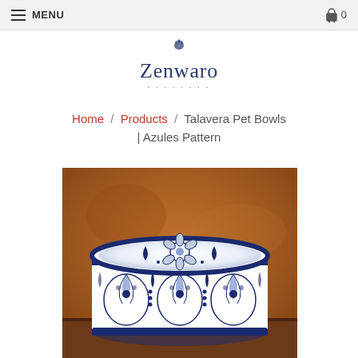MENU  0
[Figure (logo): Zenwaro brand logo with decorative flower symbol and dotted underline]
Home / Products / Talavera Pet Bowls | Azules Pattern
[Figure (photo): Close-up photo of a blue and white Talavera ceramic pet bowl with intricate floral Azules pattern, photographed against an orange/brown textured background]